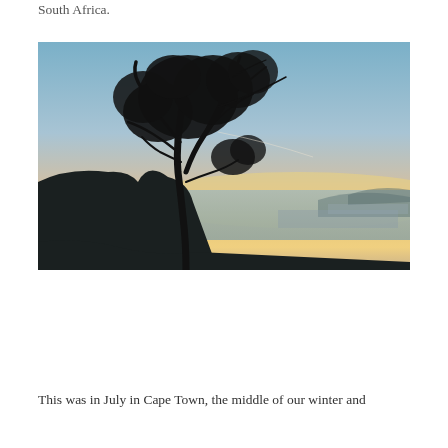South Africa.
[Figure (photo): Silhouette of a wind-swept tree on a hillside against a dramatic sunset sky with blues, yellows, and oranges. In the background, a coastal bay and distant hills are visible under the twilight sky. Cape Town, South Africa.]
This was in July in Cape Town, the middle of our winter and